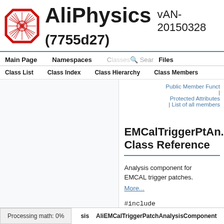AliPhysics vAN-20150328 (7755d27)
Main Page  Namespaces  Classes  Search  Files
Class List  Class Index  Class Hierarchy  Class Members
Public Member Funct | Protected Attributes | List of all members
EMCalTriggerPtAn... Class Reference
Analysis component for EMCAL trigger patches. More...
#include
Processing math: 0%   sis   AliEMCalTriggerPatchAnalysisComponent